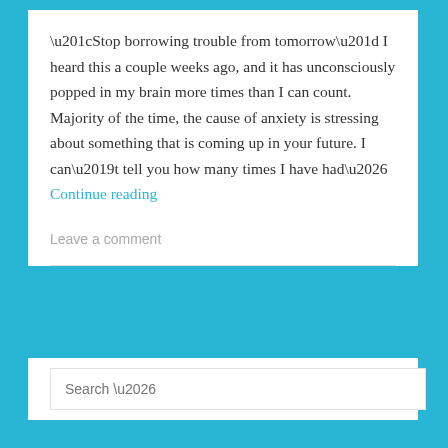“Stop borrowing trouble from tomorrow” I heard this a couple weeks ago, and it has unconsciously popped in my brain more times than I can count. Majority of the time, the cause of anxiety is stressing about something that is coming up in your future. I can’t tell you how many times I have had… Continue reading
Leave a comment
Search …